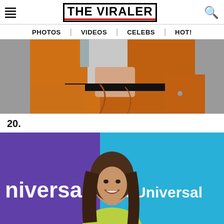THE VIRALER — PHOTOS | VIDEOS | CELEBS | HOT!
[Figure (photo): Close-up of person in orange jumpsuit, hands adjusting waistband area]
20.
[Figure (photo): Woman with long wavy hair smiling at NBCUniversal event, purple and blue backdrop]